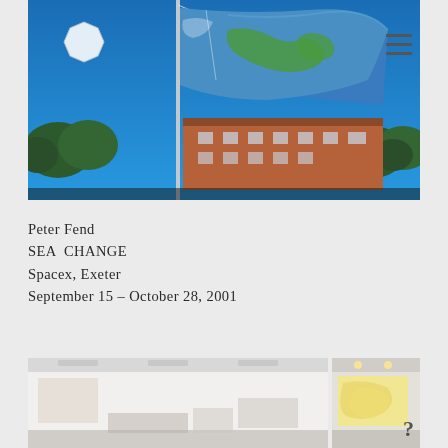[Figure (photo): Photograph of a large blue flag with green markings flying on a flagpole against a clear blue sky, with trees and a brick building visible in the background. A white octagonal shape and a hamburger menu icon are visible as UI overlays.]
Peter Fend
SEA  CHANGE
Spacex, Exeter
September 15 – October 28, 2001
[Figure (photo): Two side-by-side interior gallery photos showing white gallery walls with large artworks installed. The left image shows a mostly white space with some works near the floor. The right image shows a yellow/golden abstract artwork on the wall with a question mark visible in the corner.]